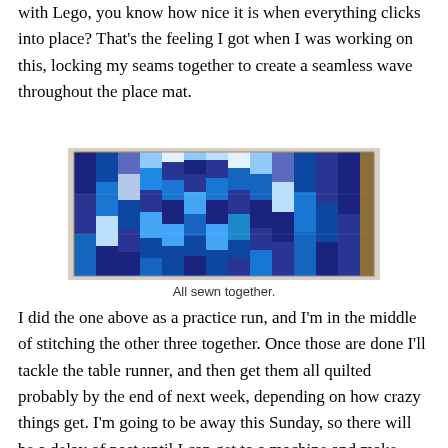with Lego, you know how nice it is when everything clicks into place? That's the feeling I got when I was working on this, locking my seams together to create a seamless wave throughout the place mat.
[Figure (photo): A blue patchwork quilt/place mat laid flat showing a wave pattern made from various shades of blue fabric squares arranged in a stepped mountain-like design.]
All sewn together.
I did the one above as a practice run, and I'm in the middle of stitching the other three together. Once those are done I'll tackle the table runner, and then get them all quilted probably by the end of next week, depending on how crazy things get. I'm going to be away this Sunday, so there will be a delay of post until I can get to a machine and make some progress. :)